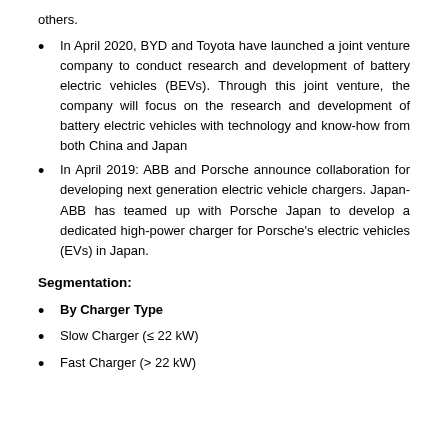others.
In April 2020, BYD and Toyota have launched a joint venture company to conduct research and development of battery electric vehicles (BEVs). Through this joint venture, the company will focus on the research and development of battery electric vehicles with technology and know-how from both China and Japan
In April 2019: ABB and Porsche announce collaboration for developing next generation electric vehicle chargers. Japan-ABB has teamed up with Porsche Japan to develop a dedicated high-power charger for Porsche's electric vehicles (EVs) in Japan.
Segmentation:
By Charger Type
Slow Charger (≤ 22 kW)
Fast Charger (> 22 kW)